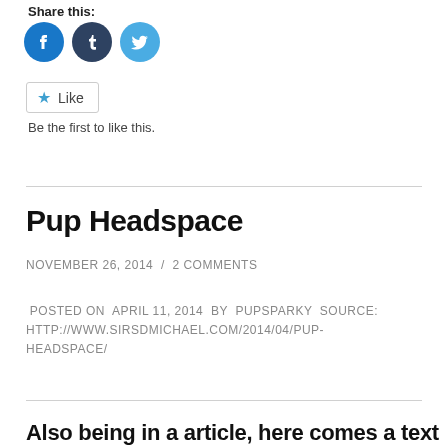Share this:
[Figure (other): Three circular social share buttons: Facebook (blue), Tumblr (dark blue-grey), Twitter (light blue)]
[Figure (other): Like button with star icon]
Be the first to like this.
Pup Headspace
NOVEMBER 26, 2014 / 2 COMMENTS
POSTED ON APRIL 11, 2014 BY PUPSPARKY SOURCE: HTTP://WWW.SIRSDMICHAEL.COM/2014/04/PUP-HEADSPACE/
Also being in a article, here comes a text